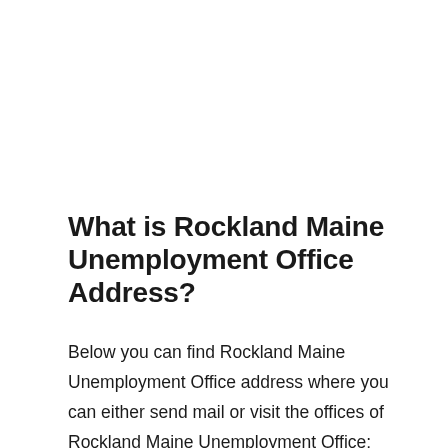What is Rockland Maine Unemployment Office Address?
Below you can find Rockland Maine Unemployment Office address where you can either send mail or visit the offices of Rockland Maine Unemployment Office: